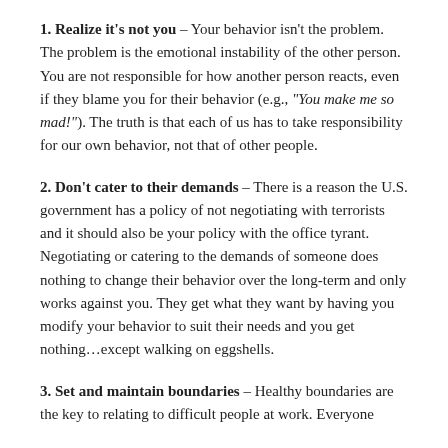1. Realize it's not you – Your behavior isn't the problem. The problem is the emotional instability of the other person. You are not responsible for how another person reacts, even if they blame you for their behavior (e.g., "You make me so mad!"). The truth is that each of us has to take responsibility for our own behavior, not that of other people.
2. Don't cater to their demands – There is a reason the U.S. government has a policy of not negotiating with terrorists and it should also be your policy with the office tyrant. Negotiating or catering to the demands of someone does nothing to change their behavior over the long-term and only works against you. They get what they want by having you modify your behavior to suit their needs and you get nothing…except walking on eggshells.
3. Set and maintain boundaries – Healthy boundaries are the key to relating to difficult people at work. Everyone